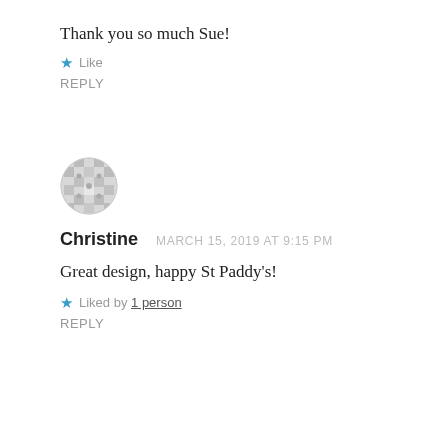Thank you so much Sue!
★ Like
REPLY
[Figure (illustration): Circular avatar/profile image with a geometric mosaic pattern in grey and white]
Christine   MARCH 15, 2019 AT 9:15 PM
Great design, happy St Paddy's!
★ Liked by 1 person
REPLY